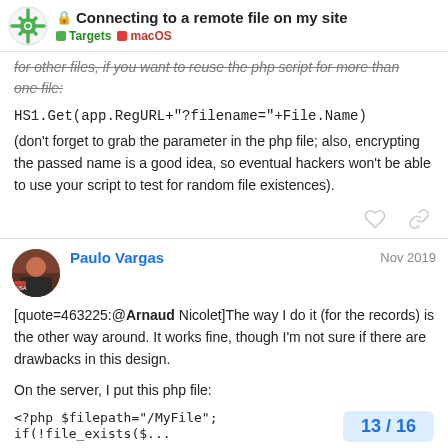🔒 Connecting to a remote file on my site | Targets | macOS
for other files, if you want to reuse the php script for more than one file:
HS1.Get(app.RegURL+"?filename="+File.Name)
(don't forget to grab the parameter in the php file; also, encrypting the passed name is a good idea, so eventual hackers won't be able to use your script to test for random file existences).
Paulo Vargas  Nov 2019
[quote=463225:@Arnaud Nicolet]The way I do it (for the records) is the other way around. It works fine, though I'm not sure if there are drawbacks in this design.

On the server, I put this php file:

<?php $filepath="/MyFile"; if(!file_exists($...
13 / 16